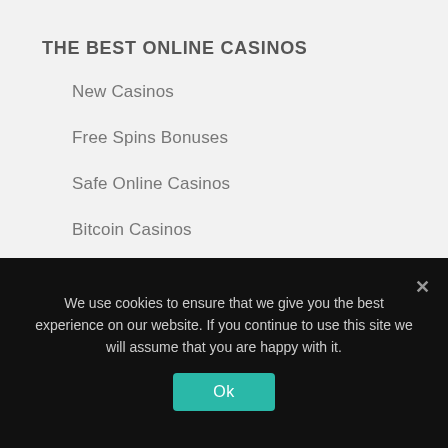THE BEST ONLINE CASINOS
New Casinos
Free Spins Bonuses
Safe Online Casinos
Bitcoin Casinos
Gambling News
Our Partners
We use cookies to ensure that we give you the best experience on our website. If you continue to use this site we will assume that you are happy with it.